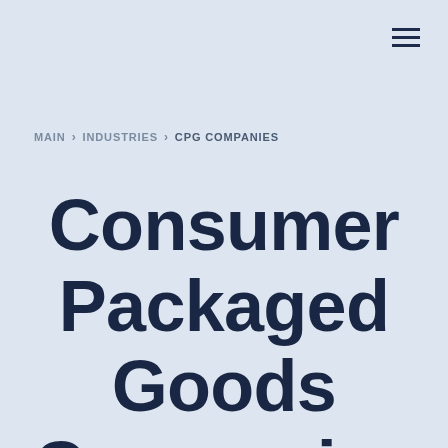≡ (menu icon)
MAIN › INDUSTRIES › CPG COMPANIES
Consumer Packaged Goods Companies